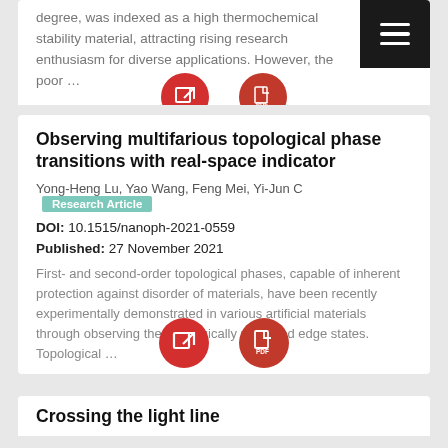degree, was indexed as a high thermochemical stability material, attracting rising research enthusiasm for diverse applications. However, the poor …
[Figure (screenshot): Two red circular buttons (external link and PDF) and a dark menu button in the top-right corner]
Observing multifarious topological phase transitions with real-space indicator
Yong-Heng Lu, Yao Wang, Feng Mei, Yi-Jun C… Research Article
DOI: 10.1515/nanoph-2021-0559
Published: 27 November 2021
First- and second-order topological phases, capable of inherent protection against disorder of materials, have been recently experimentally demonstrated in various artificial materials through observing the topologically protected edge states. Topological …
[Figure (screenshot): Two red circular buttons (external link and PDF)]
Crossing the light line